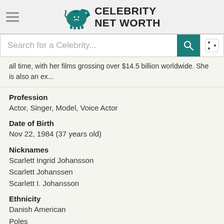Celebrity Net Worth
all time, with her films grossing over $14.5 billion worldwide. She is also an ex...
Profession
Actor, Singer, Model, Voice Actor
Date of Birth
Nov 22, 1984 (37 years old)
Nicknames
Scarlett Ingrid Johansson
Scarlett Johanssen
Scarlett I. Johansson
Ethnicity
Danish American
Poles
Scandinavian American
Ashkenazi Jews
Height
5 ft 2 in (1.6 m)